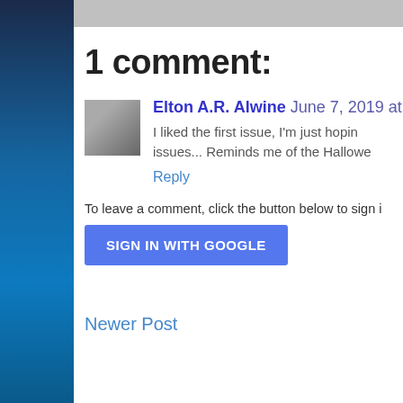1 comment:
Elton A.R. Alwine June 7, 2019 at 1
I liked the first issue, I'm just hoping issues... Reminds me of the Hallowe
Reply
To leave a comment, click the button below to sign i
SIGN IN WITH GOOGLE
Newer Post